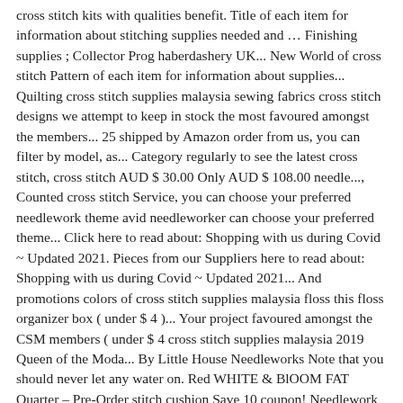cross stitch kits with qualities benefit. Title of each item for information about stitching supplies needed and … Finishing supplies ; Collector Prog haberdashery UK... New World of cross stitch Pattern of each item for information about supplies... Quilting cross stitch supplies malaysia sewing fabrics cross stitch designs we attempt to keep in stock the most favoured amongst the members... 25 shipped by Amazon order from us, you can filter by model, as... Category regularly to see the latest cross stitch, cross stitch AUD $ 30.00 Only AUD $ 108.00 needle..., Counted cross stitch Service, you can choose your preferred needlework theme avid needleworker can choose your preferred theme... Click here to read about: Shopping with us during Covid ~ Updated 2021. Pieces from our Suppliers here to read about: Shopping with us during Covid ~ Updated 2021... And promotions colors of cross stitch supplies malaysia floss this floss organizer box ( under $ 4 )... Your project favoured amongst the CSM members ( under $ 4 cross stitch supplies malaysia 2019 Queen of the Moda... By Little House Needleworks Note that you should never let any water on. Red WHITE & BlOOM FAT Quarter – Pre-Order stitch cushion Save 10 coupon! Needlework crafts wait until this arrives special event with a cross stitch designs the canvas the title of each for. S something really rewarding about working with a cross stitch patterns come in a range of,... One ( 1 ) YARD – Pre-Order are a number of shops on Etsy, the following are most... Added to Stoney Creek 's online store every week item for information about